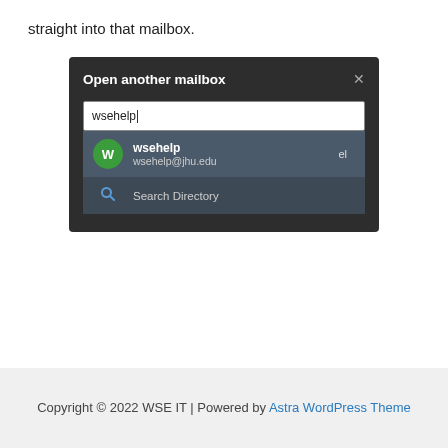straight into that mailbox.
[Figure (screenshot): Screenshot of 'Open another mailbox' dialog in an email client. A search input shows 'wsehelp' typed. A dropdown shows a result: avatar 'W' in green circle, name 'wsehelp', email 'wsehelp@jhu.edu', and a 'Search Directory' option below.]
Copyright © 2022 WSE IT | Powered by Astra WordPress Theme